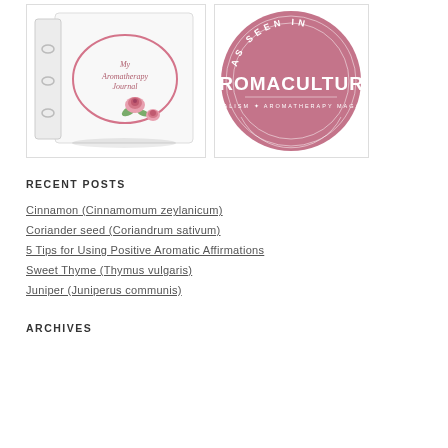[Figure (illustration): My Aromatherapy Journal binder with pink rose decoration on white cover]
[Figure (logo): As Seen In AromaCulture Herbalism Aromatherapy Magazine pink circle badge]
RECENT POSTS
Cinnamon (Cinnamomum zeylanicum)
Coriander seed (Coriandrum sativum)
5 Tips for Using Positive Aromatic Affirmations
Sweet Thyme (Thymus vulgaris)
Juniper (Juniperus communis)
ARCHIVES